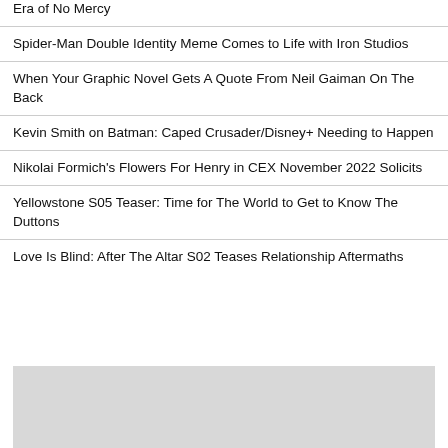Era of No Mercy
Spider-Man Double Identity Meme Comes to Life with Iron Studios
When Your Graphic Novel Gets A Quote From Neil Gaiman On The Back
Kevin Smith on Batman: Caped Crusader/Disney+ Needing to Happen
Nikolai Formich's Flowers For Henry in CEX November 2022 Solicits
Yellowstone S05 Teaser: Time for The World to Get to Know The Duttons
Love Is Blind: After The Altar S02 Teases Relationship Aftermaths
[Figure (other): Gray placeholder/advertisement box at the bottom of the page]